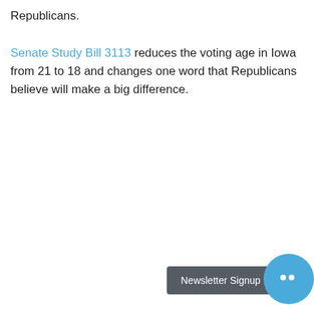Republicans. Senate Study Bill 3113 reduces the voting age in Iowa from 21 to 18 and changes one word that Republicans believe will make a big difference.
Newsletter Signup